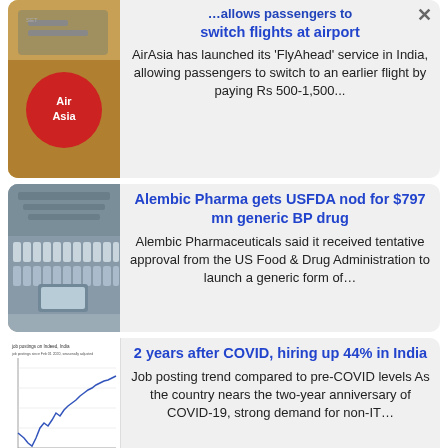AirAsia India allows passengers to switch flights at airport
AirAsia has launched its 'FlyAhead' service in India, allowing passengers to switch to an earlier flight by paying Rs 500-1,500...
Alembic Pharma gets USFDA nod for $797 mn generic BP drug
Alembic Pharmaceuticals said it received tentative approval from the US Food & Drug Administration to launch a generic form of...
2 years after COVID, hiring up 44% in India
Job posting trend compared to pre-COVID levels As the country nears the two-year anniversary of COVID-19, strong demand for non-IT...